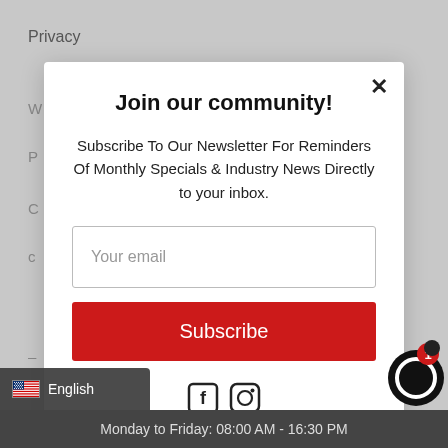Privacy
Join our community!
Subscribe To Our Newsletter For Reminders Of Monthly Specials & Industry News Directly to your inbox.
Your email
Subscribe
[Figure (illustration): Facebook and Instagram social media icons]
[Figure (illustration): Chat support bubble icon with red notification badge showing 1]
English
Monday to Friday: 08:00 AM - 16:30 PM